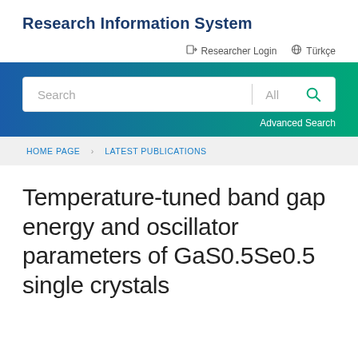Research Information System
Researcher Login   Türkçe
[Figure (screenshot): Search bar with text field showing 'Search', dropdown showing 'All', and a teal search icon button, set within a blue-to-green gradient banner. Below the search bar is an 'Advanced Search' link.]
HOME PAGE > LATEST PUBLICATIONS
Temperature-tuned band gap energy and oscillator parameters of GaS0.5Se0.5 single crystals